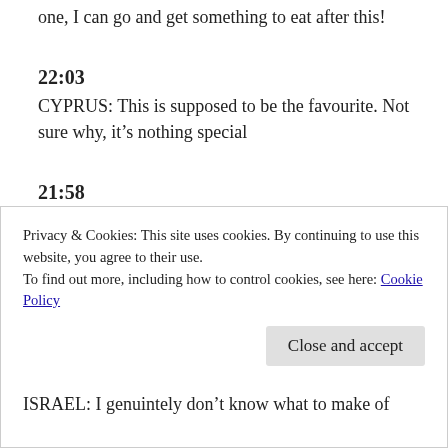one, I can go and get something to eat after this!
22:03
CYPRUS: This is supposed to be the favourite. Not sure why, it’s nothing special
21:58
IRELAND: Usuaully a fan favourite. Never realised they hadn’t been in it for five years though. That streetlight isn’t giving out much light though. The song wasn’t bad.
21:55
Privacy & Cookies: This site uses cookies. By continuing to use this website, you agree to their use.
To find out more, including how to control cookies, see here: Cookie Policy
Close and accept
ISRAEL: I genuintely don’t know what to make of